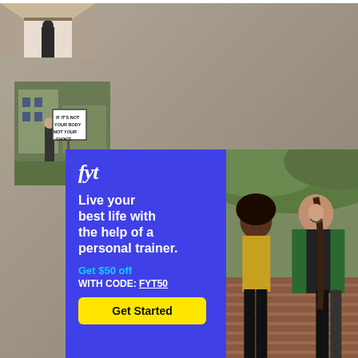[Figure (photo): Thumbnail photo of a person in a hallway, partially visible at top]
Stretching
[Figure (photo): Thumbnail photo of protest signs reading IF IT'S NOT YOUR BODY NOT YOUR CHOICE]
What It’s Like to Be in Louisiana, Weeks After a Trigger Law Banned Abortion
[Figure (photo): FYT personal trainer advertisement with two women sitting outdoors. Ad text: Live your best life with the help of a personal trainer. Get $50 off WITH CODE: FYT50. Get Started button.]